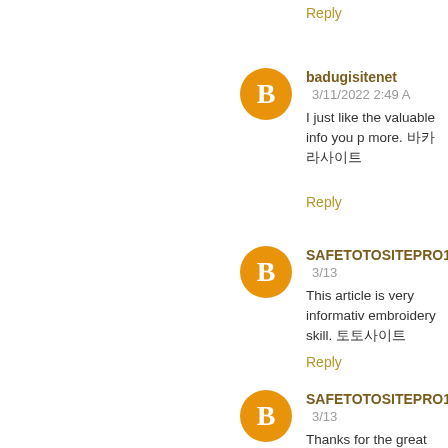Reply
badugisitenet  3/11/2022 2:49 AM
I just like the valuable info you p more. 바카라사이트
Reply
SAFETOTOSITEPRO18  3/13
This article is very informative embroidery skill. 토토사이트
Reply
SAFETOTOSITEPRO18  3/13
Thanks for the great article that p
Reply
바카라사이트  3/14/2022 2:10 AM
Youre so right. Im there with you anyone comes throughout it.